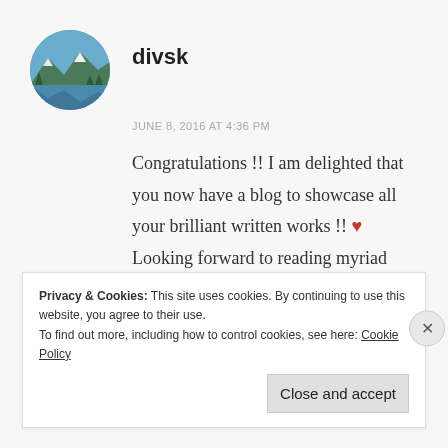[Figure (photo): Circular avatar photo of a mountain lake landscape with blue water and snow-capped peaks]
divsk
JUNE 8, 2016 AT 4:36 PM
Congratulations !! I am delighted that you now have a blog to showcase all your brilliant written works !! ❤ Looking forward to reading myriad sublime stories crafted by your magical pen. 😘❤
Liked by n people
Privacy & Cookies: This site uses cookies. By continuing to use this website, you agree to their use.
To find out more, including how to control cookies, see here: Cookie Policy
Close and accept